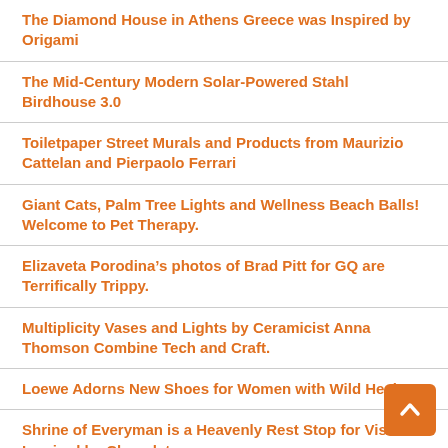The Diamond House in Athens Greece was Inspired by Origami
The Mid-Century Modern Solar-Powered Stahl Birdhouse 3.0
Toiletpaper Street Murals and Products from Maurizio Cattelan and Pierpaolo Ferrari
Giant Cats, Palm Tree Lights and Wellness Beach Balls! Welcome to Pet Therapy.
Elizaveta Porodina’s photos of Brad Pitt for GQ are Terrifically Trippy.
Multiplicity Vases and Lights by Ceramicist Anna Thomson Combine Tech and Craft.
Loewe Adorns New Shoes for Women with Wild Heels
Shrine of Everyman is a Heavenly Rest Stop for Visitors Inspired by Chocolate
Solid Sterling Silver Dominoes Set With Black